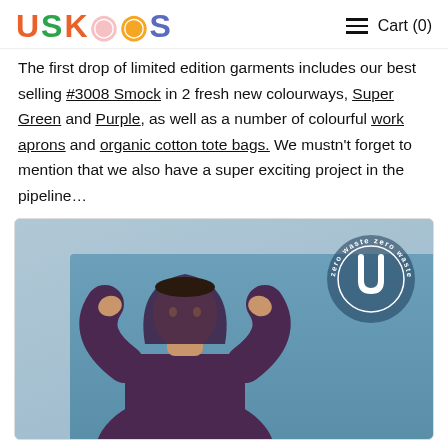USKEES  Cart (0)
The first drop of limited edition garments includes our best selling #3008 Smock in 2 fresh new colourways, Super Green and Purple, as well as a number of colourful work aprons and organic cotton tote bags. We mustn't forget to mention that we also have a super exciting project in the pipeline…
[Figure (photo): A man wearing a purple hoodie pulling up the hood, photographed against a blue sky background. A circular badge reads 'zero waste zero waste zero waste' with the Uskees logo (U shape) in the center.]